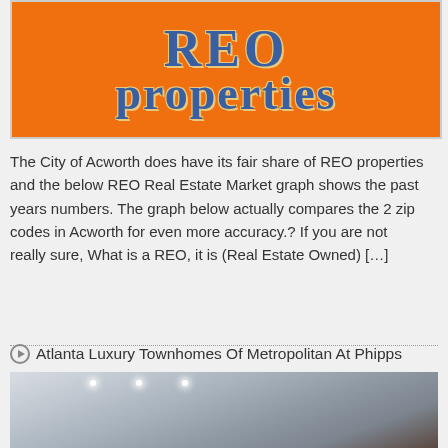[Figure (illustration): Orange background graphic with large blue serif bold text reading 'REO' on top line and 'properties' on second line, with yellow/cream outline on the letters.]
The City of Acworth does have its fair share of REO properties and the below REO Real Estate Market graph shows the past years numbers. The graph below actually compares the 2 zip codes in Acworth for even more accuracy.? If you are not really sure, What is a REO, it is (Real Estate Owned) […]
Atlanta Luxury Townhomes Of Metropolitan At Phipps
[Figure (photo): Interior photo of a modern space with white ceiling, recessed lighting spots, and dark wood paneling on the right side.]